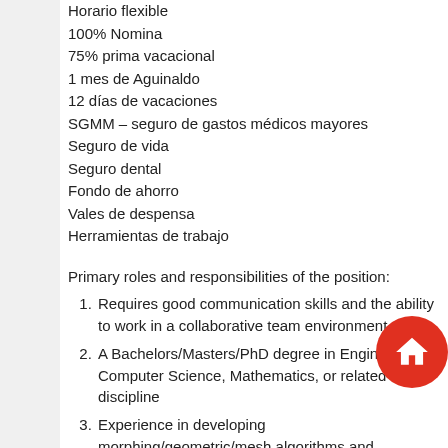Horario flexible
100% Nomina
75% prima vacacional
1 mes de Aguinaldo
12 días de vacaciones
SGMM – seguro de gastos médicos mayores
Seguro de vida
Seguro dental
Fondo de ahorro
Vales de despensa
Herramientas de trabajo
Primary roles and responsibilities of the position:
Requires good communication skills and the ability to work in a collaborative team environment
A Bachelors/Masters/PhD degree in Engineering, Computer Science, Mathematics, or related discipline
Experience in developing morphing/geometric/mesh algorithms and